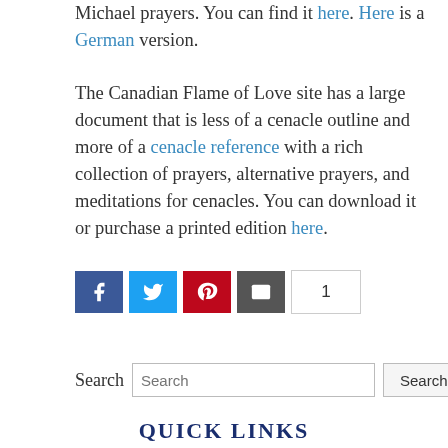Michael prayers. You can find it here. Here is a German version. The Canadian Flame of Love site has a large document that is less of a cenacle outline and more of a cenacle reference with a rich collection of prayers, alternative prayers, and meditations for cenacles. You can download it or purchase a printed edition here.
[Figure (infographic): Social sharing bar with Facebook, Twitter, Pinterest, Email buttons and a count box showing 1]
[Figure (infographic): Search bar with label 'Search', input field, and Search button]
QUICK LINKS